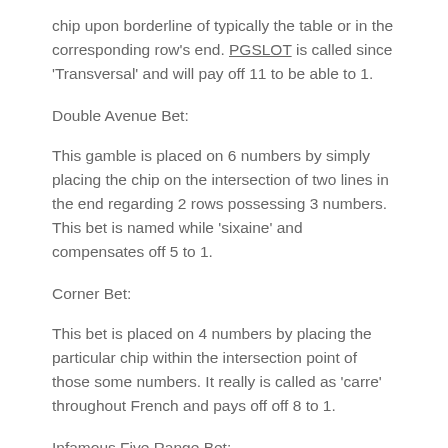chip upon borderline of typically the table or in the corresponding row's end. PGSLOT is called since 'Transversal' and will pay off 11 to be able to 1.
Double Avenue Bet:
This gamble is placed on 6 numbers by simply placing the chip on the intersection of two lines in the end regarding 2 rows possessing 3 numbers. This bet is named while 'sixaine' and compensates off 5 to 1.
Corner Bet:
This bet is placed on 4 numbers by placing the particular chip within the intersection point of those some numbers. It really is called as 'carre' throughout French and pays off off 8 to 1.
Infamous Five Range Bet: